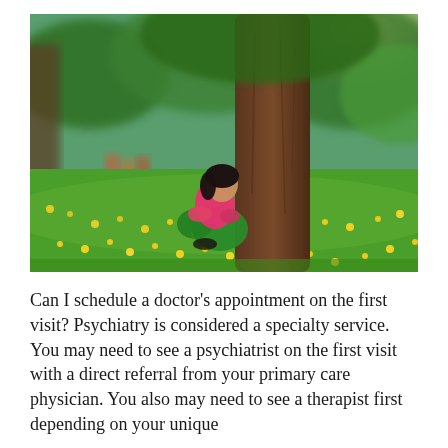[Figure (photo): A young woman in a pink top and green leggings sitting against a large tree trunk in a park, surrounded by yellow flowers and green grass, with blurred trees in the background.]
Can I schedule a doctor's appointment on the first visit? Psychiatry is considered a specialty service. You may need to see a psychiatrist on the first visit with a direct referral from your primary care physician. You also may need to see a therapist first depending on your unique